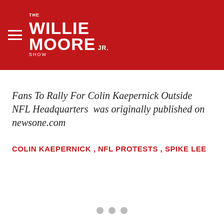The Willie Moore Jr. Show
Fans To Rally For Colin Kaepernick Outside NFL Headquarters  was originally published on newsone.com
COLIN KAEPERNICK , NFL PROTESTS , SPIKE LEE